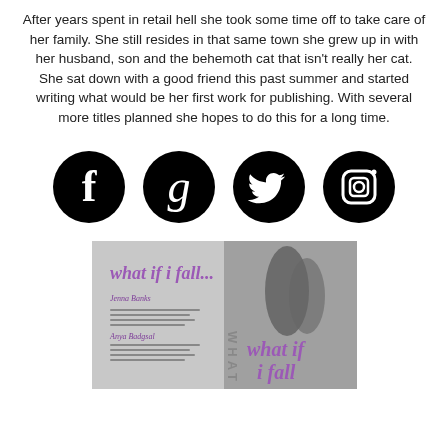After years spent in retail hell she took some time off to take care of her family. She still resides in that same town she grew up in with her husband, son and the behemoth cat that isn't really her cat. She sat down with a good friend this past summer and started writing what would be her first work for publishing. With several more titles planned she hopes to do this for a long time.
[Figure (infographic): Four social media icons in black circles: Facebook (f), Goodreads (g), Twitter (bird), Instagram (camera)]
[Figure (photo): Book cover for 'What If I Fall' showing romantic couple in black and white, with purple script title text overlaid]